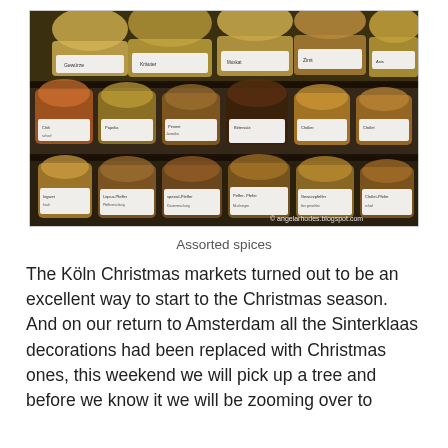[Figure (photo): Shelves of assorted spices packaged in clear cellophane bags with white labels, displayed in a market stall. Multiple rows of various spices are visible. Watermark reads '© angelarhodes.blogspot.com'.]
Assorted spices
The Köln Christmas markets turned out to be an excellent way to start to the Christmas season. And on our return to Amsterdam all the Sinterklaas decorations had been replaced with Christmas ones, this weekend we will pick up a tree and before we know it we will be zooming over to